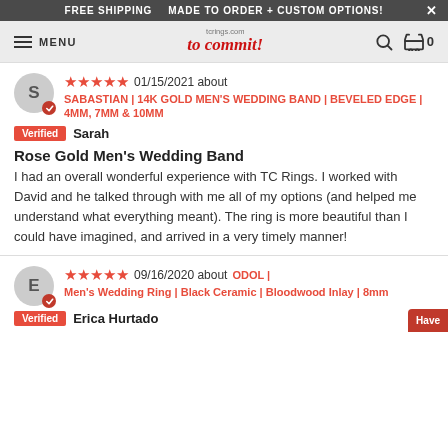FREE SHIPPING   MADE TO ORDER + CUSTOM OPTIONS!   X
MENU  tcrings.com to commit!  Search Cart 0
★★★★★ 01/15/2021 about SABASTIAN | 14K GOLD MEN'S WEDDING BAND | BEVELED EDGE | 4MM, 7MM & 10MM
Verified  Sarah
Rose Gold Men's Wedding Band
I had an overall wonderful experience with TC Rings. I worked with David and he talked through with me all of my options (and helped me understand what everything meant). The ring is more beautiful than I could have imagined, and arrived in a very timely manner!
★★★★★ 09/16/2020 about ODOL | Men's Wedding Ring | Black Ceramic | Bloodwood Inlay | 8mm
Verified  Erica Hurtado